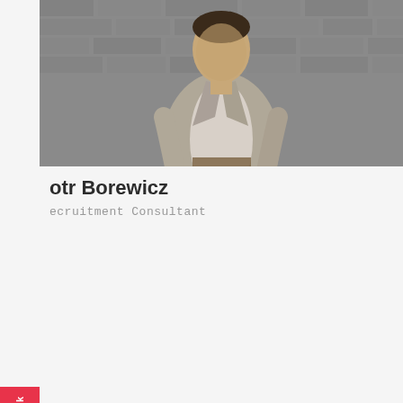[Figure (photo): Black and white portrait photo of a man in a grey blazer over a white t-shirt, standing against a brick wall background]
Piotr Borewicz
Recruitment Consultant